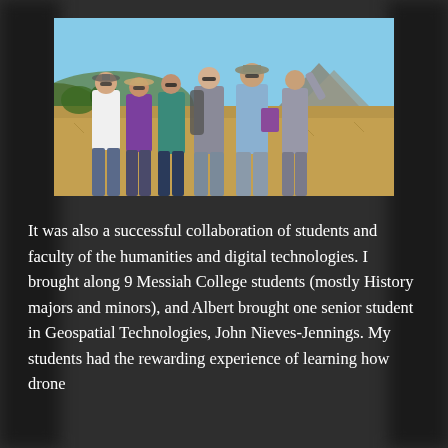[Figure (photo): Group of five people (students and faculty) standing outdoors in a dry, hilly landscape under a clear blue sky. They are wearing casual clothes and sunglasses. A mountain is visible in the background on the right.]
It was also a successful collaboration of students and faculty of the humanities and digital technologies. I brought along 9 Messiah College students (mostly History majors and minors), and Albert brought one senior student in Geospatial Technologies, John Nieves-Jennings. My students had the rewarding experience of learning how drone